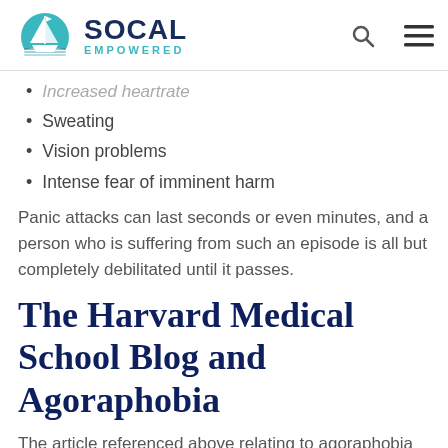SOCAL EMPOWERED
Increased heartrate
Sweating
Vision problems
Intense fear of imminent harm
Panic attacks can last seconds or even minutes, and a person who is suffering from such an episode is all but completely debilitated until it passes.
The Harvard Medical School Blog and Agoraphobia
The article referenced above relating to agoraphobia and COVID-19 was published by the Harvard Medical School, and its full text can be